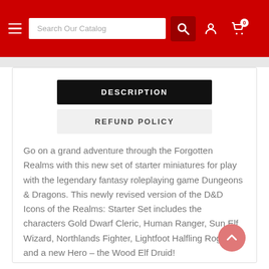Search Our Catalog
DESCRIPTION
REFUND POLICY
Go on a grand adventure through the Forgotten Realms with this new set of starter miniatures for play with the legendary fantasy roleplaying game Dungeons & Dragons. This newly revised version of the D&D Icons of the Realms: Starter Set includes the characters Gold Dwarf Cleric, Human Ranger, Sun Elf Wizard, Northlands Fighter, Lightfoot Halfling Rogue, and a new Hero – the Wood Elf Druid!